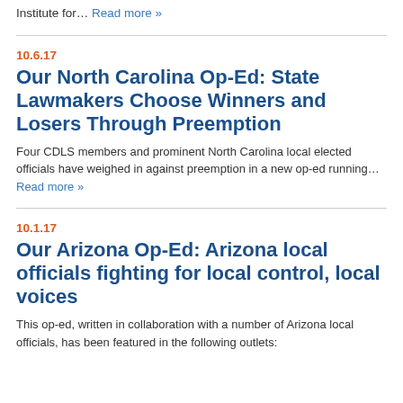Institute for… Read more »
10.6.17
Our North Carolina Op-Ed: State Lawmakers Choose Winners and Losers Through Preemption
Four CDLS members and prominent North Carolina local elected officials have weighed in against preemption in a new op-ed running… Read more »
10.1.17
Our Arizona Op-Ed: Arizona local officials fighting for local control, local voices
This op-ed, written in collaboration with a number of Arizona local officials, has been featured in the following outlets: